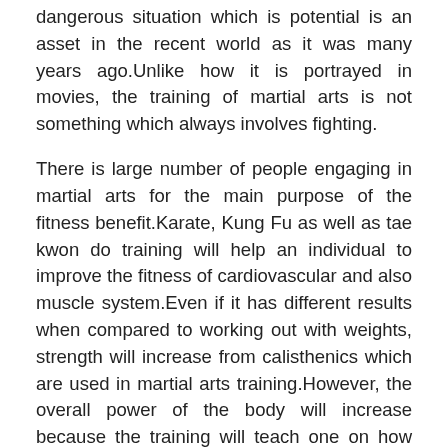dangerous situation which is potential is an asset in the recent world as it was many years ago.Unlike how it is portrayed in movies, the training of martial arts is not something which always involves fighting.
There is large number of people engaging in martial arts for the main purpose of the fitness benefit.Karate, Kung Fu as well as tae kwon do training will help an individual to improve the fitness of cardiovascular and also muscle system.Even if it has different results when compared to working out with weights, strength will increase from calisthenics which are used in martial arts training.However, the overall power of the body will increase because the training will teach one on how they can utilize the strength effectively.
Most people will improve the flexibility they have as they have the martial art training since there are so many body motions involved.Another benefit which you will get by